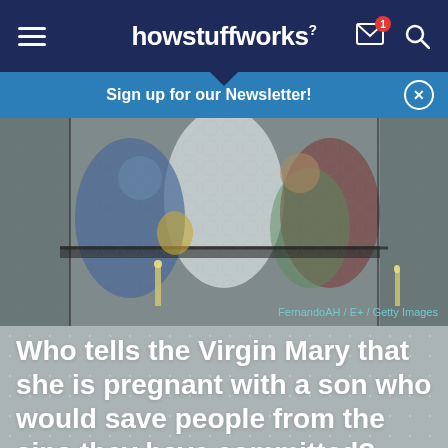howstuffworks
Sign up for our Newsletter!
[Figure (photo): Stained glass artwork depicting a religious scene with figures in robes, likely an Annunciation or biblical scene. Image credit: FernandoAH / E+ / Getty Images]
FernandoAH / E+ / Getty Images
Who tells the Virgin Mary that she is pregnant with a son who would save people from the sins they have committed?